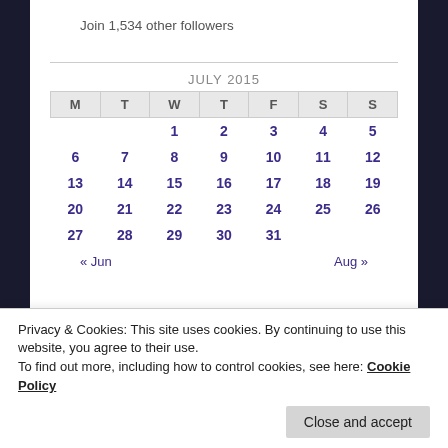Join 1,534 other followers
| M | T | W | T | F | S | S |
| --- | --- | --- | --- | --- | --- | --- |
|  |  | 1 | 2 | 3 | 4 | 5 |
| 6 | 7 | 8 | 9 | 10 | 11 | 12 |
| 13 | 14 | 15 | 16 | 17 | 18 | 19 |
| 20 | 21 | 22 | 23 | 24 | 25 | 26 |
| 27 | 28 | 29 | 30 | 31 |  |  |
« Jun    Aug »
NEW POST NOTIFICATION VIA EMAIL
Privacy & Cookies: This site uses cookies. By continuing to use this website, you agree to their use.
To find out more, including how to control cookies, see here: Cookie Policy
Close and accept